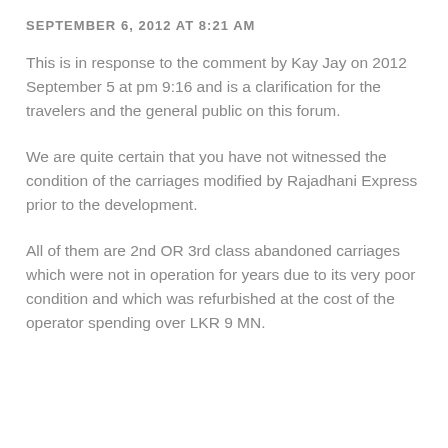SEPTEMBER 6, 2012 AT 8:21 AM
This is in response to the comment by Kay Jay on 2012 September 5 at pm 9:16 and is a clarification for the travelers and the general public on this forum.
We are quite certain that you have not witnessed the condition of the carriages modified by Rajadhani Express prior to the development.
All of them are 2nd OR 3rd class abandoned carriages which were not in operation for years due to its very poor condition and which was refurbished at the cost of the operator spending over LKR 9 MN.